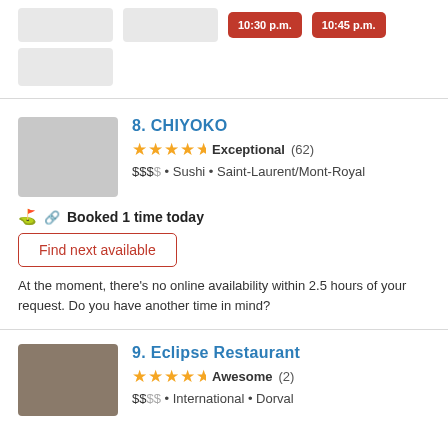[Figure (screenshot): Partial restaurant listing page with time buttons (10:30 p.m., 10:45 p.m.) and placeholder boxes at top]
8. CHIYOKO
★★★★½ Exceptional (62)
$$$$• Sushi • Saint-Laurent/Mont-Royal
Booked 1 time today
Find next available
At the moment, there's no online availability within 2.5 hours of your request. Do you have another time in mind?
9. Eclipse Restaurant
★★★★½ Awesome (2)
$$$$• International • Dorval